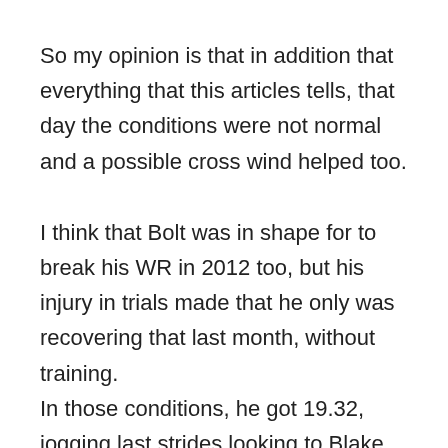So my opinion is that in addition that everything that this articles tells, that day the conditions were not normal and a possible cross wind helped too.
I think that Bolt was in shape for to break his WR in 2012 too, but his injury in trials made that he only was recovering that last month, without training.
In those conditions, he got 19.32, jogging last strides looking to Blake,